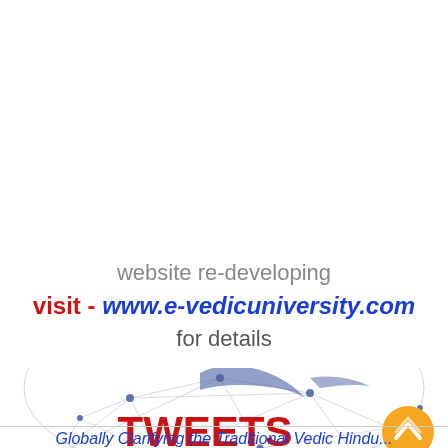website re-developing
visit - www.e-vedicuniversity.com
for details
[Figure (illustration): Network globe illustration with the word TWEETS in red bold text overlaid, and an orange scroll-up button in the bottom right corner]
Globally Clarifying the Traditional Vedic Hindu...